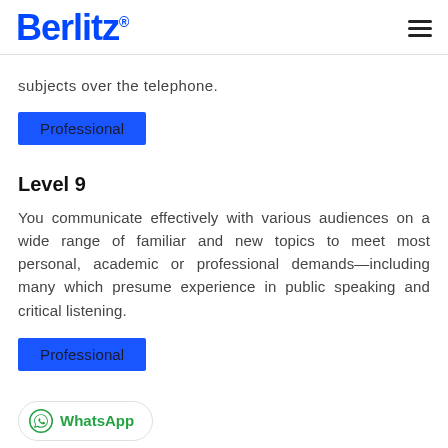Berlitz
subjects over the telephone.
Professional
Level 9
You communicate effectively with various audiences on a wide range of familiar and new topics to meet most personal, academic or professional demands—including many which presume experience in public speaking and critical listening.
Professional
WhatsApp